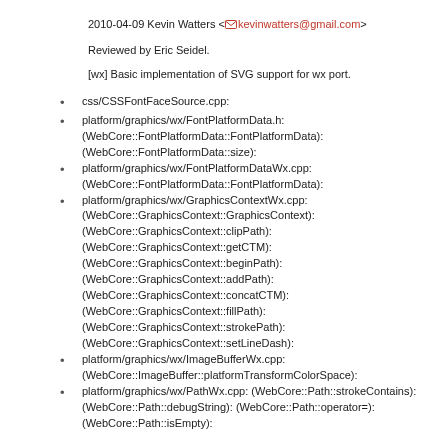2010-04-09 Kevin Watters <kevinwatters@gmail.com>
Reviewed by Eric Seidel.
[wx] Basic implementation of SVG support for wx port.
css/CSSFontFaceSource.cpp:
platform/graphics/wx/FontPlatformData.h: (WebCore::FontPlatformData::FontPlatformData): (WebCore::FontPlatformData::size):
platform/graphics/wx/FontPlatformDataWx.cpp: (WebCore::FontPlatformData::FontPlatformData):
platform/graphics/wx/GraphicsContextWx.cpp: (WebCore::GraphicsContext::GraphicsContext): (WebCore::GraphicsContext::clipPath): (WebCore::GraphicsContext::getCTM): (WebCore::GraphicsContext::beginPath): (WebCore::GraphicsContext::addPath): (WebCore::GraphicsContext::concatCTM): (WebCore::GraphicsContext::fillPath): (WebCore::GraphicsContext::strokePath): (WebCore::GraphicsContext::setLineDash):
platform/graphics/wx/ImageBufferWx.cpp: (WebCore::ImageBuffer::platformTransformColorSpace):
platform/graphics/wx/PathWx.cpp: (WebCore::Path::strokeContains): (WebCore::Path::debugString): (WebCore::Path::operator=): (WebCore::Path::isEmpty):